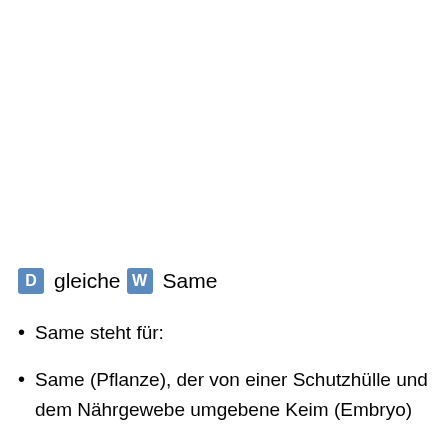D gleiche W Same
Same steht für:
Same (Pflanze), der von einer Schutzhülle und dem Nährgewebe umgebene Keim (Embryo)